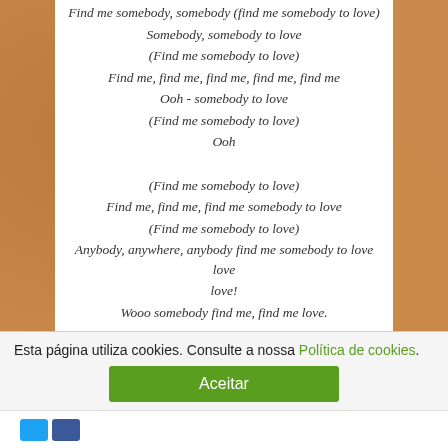Find me somebody, somebody (find me somebody to love)
Somebody, somebody to love
(Find me somebody to love)
Find me, find me, find me, find me, find me
Ooh - somebody to love
(Find me somebody to love)
Ooh
(Find me somebody to love)
Find me, find me, find me somebody to love
(Find me somebody to love)
Anybody, anywhere, anybody find me somebody to love love love!
Wooo somebody find me, find me love.
PS: também quero...
Tags: casamentos | música | queen
Esta página utiliza cookies. Consulte a nossa Política de cookies.
Aceitar